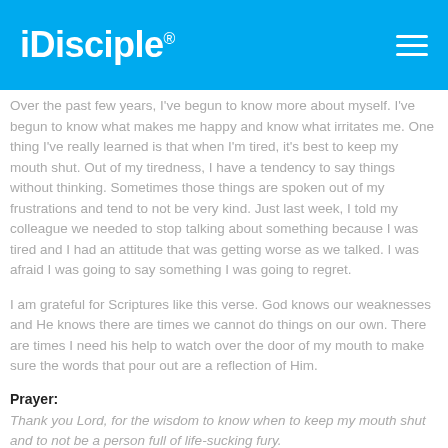iDisciple
Over the past few years, I've begun to know more about myself. I've begun to know what makes me happy and know what irritates me. One thing I've really learned is that when I'm tired, it's best to keep my mouth shut. Out of my tiredness, I have a tendency to say things without thinking. Sometimes those things are spoken out of my frustrations and tend to not be very kind. Just last week, I told my colleague we needed to stop talking about something because I was tired and I had an attitude that was getting worse as we talked. I was afraid I was going to say something I was going to regret.
I am grateful for Scriptures like this verse. God knows our weaknesses and He knows there are times we cannot do things on our own. There are times I need his help to watch over the door of my mouth to make sure the words that pour out are a reflection of Him.
Prayer:
Thank you Lord, for the wisdom to know when to keep my mouth shut and to not be a person full of life-sucking fury.